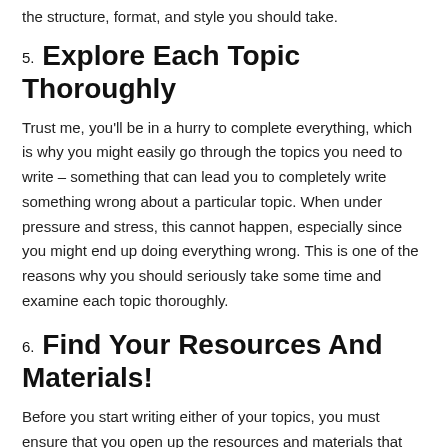the structure, format, and style you should take.
5. Explore Each Topic Thoroughly
Trust me, you'll be in a hurry to complete everything, which is why you might easily go through the topics you need to write – something that can lead you to completely write something wrong about a particular topic. When under pressure and stress, this cannot happen, especially since you might end up doing everything wrong. This is one of the reasons why you should seriously take some time and examine each topic thoroughly.
6. Find Your Resources And Materials!
Before you start writing either of your topics, you must ensure that you open up the resources and materials that you'll need for each of them. Such as books, magazines, etc.